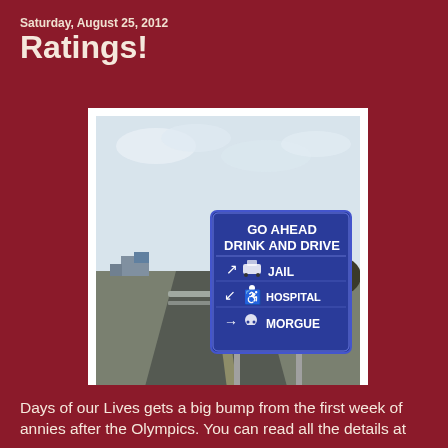Saturday, August 25, 2012
Ratings!
[Figure (photo): A humorous roadside blue highway sign reading 'GO AHEAD DRINK AND DRIVE' with arrows pointing to JAIL (right arrow with police car icon), HOSPITAL (left arrow with wheelchair icon), and MORGUE (right arrow with skull and crossbones icon). The sign is on a highway with trucks visible in the background.]
Days of our Lives gets a big bump from the first week of annies after the Olympics. You can read all the details at